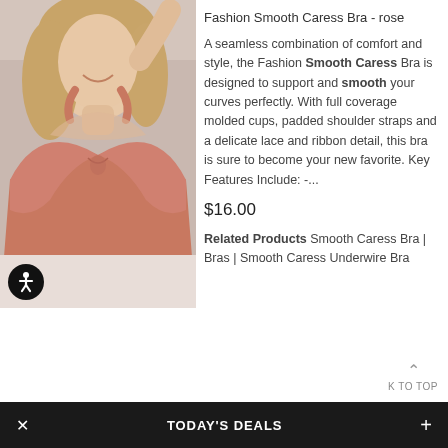[Figure (photo): Woman wearing a rose/terracotta colored Fashion Smooth Caress Bra, smiling, with blonde hair, plus-size model on light gray background. Accessibility icon (wheelchair) displayed in bottom-left of image.]
Fashion Smooth Caress Bra - rose
A seamless combination of comfort and style, the Fashion Smooth Caress Bra is designed to support and smooth your curves perfectly. With full coverage molded cups, padded shoulder straps and a delicate lace and ribbon detail, this bra is sure to become your new favorite. Key Features Include: -...
$16.00
Related Products Smooth Caress Bra | Bras | Smooth Caress Underwire Bra
× TODAY'S DEALS +